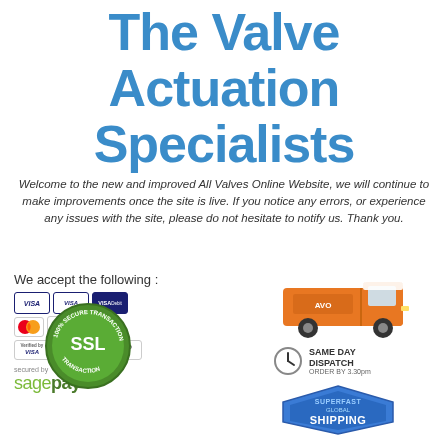The Valve Actuation Specialists
Welcome to the new and improved All Valves Online Website, we will continue to make improvements once the site is live. If you notice any errors, or experience any issues with the site, please do not hesitate to notify us. Thank you.
We accept the following :
[Figure (logo): Payment method icons: Visa, Visa Electron, Visa Debit, Mastercard, PayPal, Maestro, Verified by Visa, MasterCard SecureCode, Comodo security badges]
[Figure (logo): Secured by SagePay payment gateway logo]
[Figure (logo): 100% Secure Transaction SSL badge - green circular badge with SSL text]
[Figure (illustration): Orange delivery van illustration]
[Figure (logo): Same Day Dispatch - Order by 3.30pm badge with clock icon]
[Figure (logo): Superfast Global Shipping hexagonal badge in blue and grey]